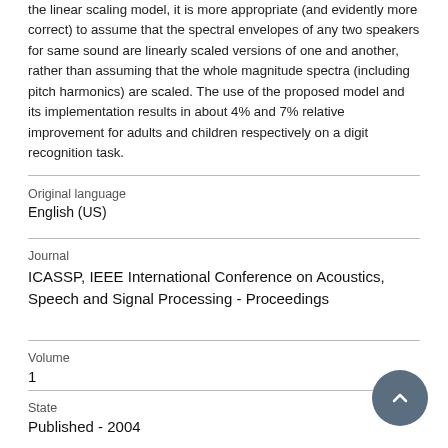the linear scaling model, it is more appropriate (and evidently more correct) to assume that the spectral envelopes of any two speakers for same sound are linearly scaled versions of one and another, rather than assuming that the whole magnitude spectra (including pitch harmonics) are scaled. The use of the proposed model and its implementation results in about 4% and 7% relative improvement for adults and children respectively on a digit recognition task.
Original language
English (US)
Journal
ICASSP, IEEE International Conference on Acoustics, Speech and Signal Processing - Proceedings
Volume
1
State
Published - 2004